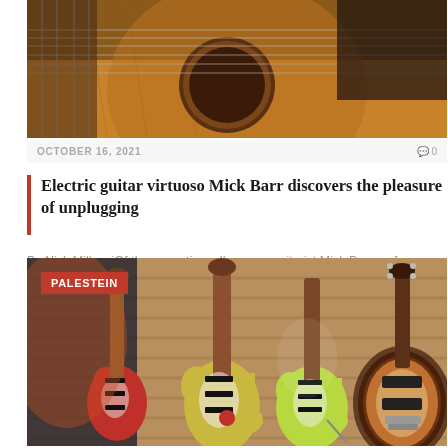[Figure (photo): Close-up photo of acoustic guitar body and strings, warm wooden tones]
OCTOBER 16, 2021
0
Electric guitar virtuoso Mick Barr discovers the pleasure of unplugging
By Nick MillevoiOf the many times I've seen guitarist Mick Barr perform, one of the...
[Figure (photo): Several electric guitars (Stratocasters and a Les Paul style) hanging on a slatwall display in a music store, with a PALESTEIN label overlay]